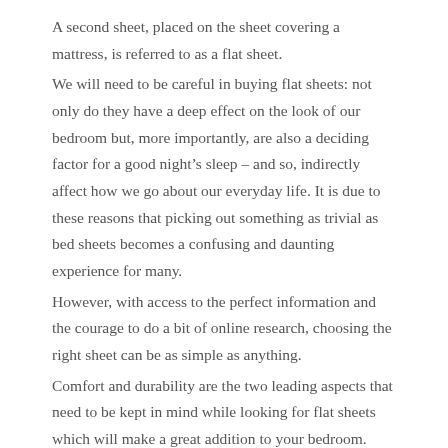A second sheet, placed on the sheet covering a mattress, is referred to as a flat sheet.
We will need to be careful in buying flat sheets: not only do they have a deep effect on the look of our bedroom but, more importantly, are also a deciding factor for a good night’s sleep – and so, indirectly affect how we go about our everyday life. It is due to these reasons that picking out something as trivial as bed sheets becomes a confusing and daunting experience for many.
However, with access to the perfect information and the courage to do a bit of online research, choosing the right sheet can be as simple as anything.
Comfort and durability are the two leading aspects that need to be kept in mind while looking for flat sheets which will make a great addition to your bedroom.
The breathability of the fabric from which the sheet was woven is crucial for comfort. Some fabrics favored because of their breathability include Pima cotton, Egyptian cotton, silk and